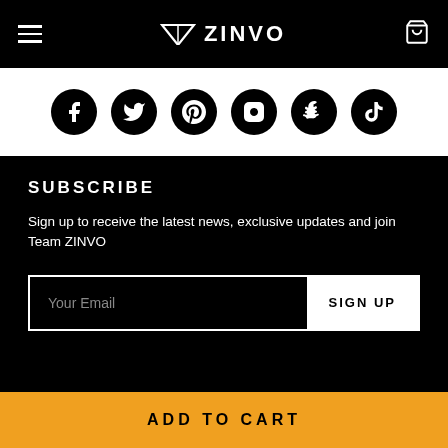ZINVO
[Figure (logo): Social media icons row: Facebook, Twitter, Pinterest, Instagram, Snapchat, TikTok]
SUBSCRIBE
Sign up to receive the latest news, exclusive updates and join Team ZINVO
Your Email | SIGN UP
OASIS    $249
ADD TO CART